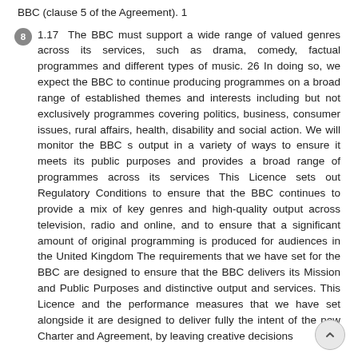BBC (clause 5 of the Agreement). 1
1.17  The BBC must support a wide range of valued genres across its services, such as drama, comedy, factual programmes and different types of music. 26 In doing so, we expect the BBC to continue producing programmes on a broad range of established themes and interests including but not exclusively programmes covering politics, business, consumer issues, rural affairs, health, disability and social action. We will monitor the BBC s output in a variety of ways to ensure it meets its public purposes and provides a broad range of programmes across its services This Licence sets out Regulatory Conditions to ensure that the BBC continues to provide a mix of key genres and high-quality output across television, radio and online, and to ensure that a significant amount of original programming is produced for audiences in the United Kingdom The requirements that we have set for the BBC are designed to ensure that the BBC delivers its Mission and Public Purposes and distinctive output and services. This Licence and the performance measures that we have set alongside it are designed to deliver fully the intent of the new Charter and Agreement, by leaving creative decisions